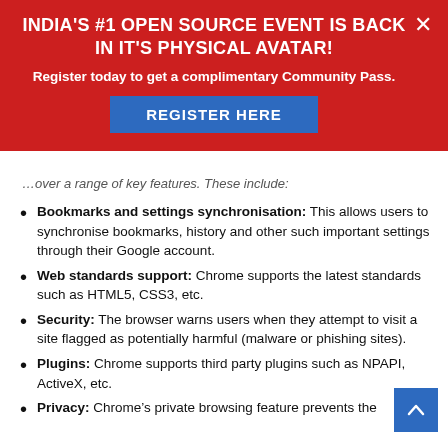[Figure (screenshot): Red promotional banner: INDIA'S #1 OPEN SOURCE EVENT IS BACK IN IT'S PHYSICAL AVATAR! Register today to get a complimentary Community Pass. REGISTER HERE button. Close X button.]
…over a range of key features. These include:
Bookmarks and settings synchronisation: This allows users to synchronise bookmarks, history and other such important settings through their Google account.
Web standards support: Chrome supports the latest standards such as HTML5, CSS3, etc.
Security: The browser warns users when they attempt to visit a site flagged as potentially harmful (malware or phishing sites).
Plugins: Chrome supports third party plugins such as NPAPI, ActiveX, etc.
Privacy: Chrome's private browsing feature prevents the